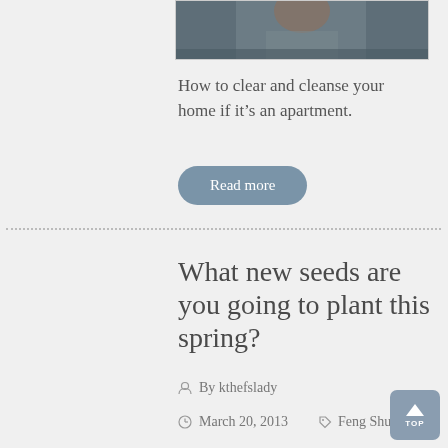[Figure (photo): Partial photo of a person with braided hair against a dark background, cropped at top of page]
How to clear and cleanse your home if it’s an apartment.
Read more
What new seeds are you going to plant this spring?
By kthefslady
March 20, 2013
Feng Shui